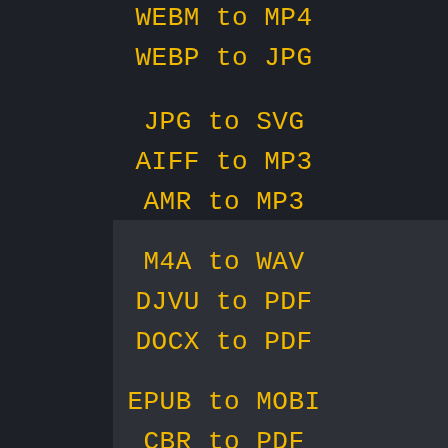WEBM to MP4
WEBP to JPG
JPG to SVG
AIFF to MP3
AMR to MP3
M4A to WAV
DJVU to PDF
DOCX to PDF
EPUB to MOBI
CBR to PDF
TIFF to PDF
WEBP to PNG
WEBP to GIF